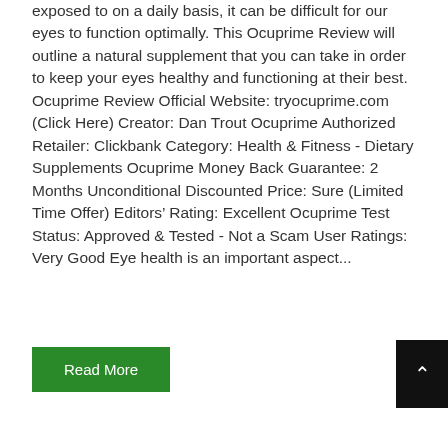exposed to on a daily basis, it can be difficult for our eyes to function optimally. This Ocuprime Review will outline a natural supplement that you can take in order to keep your eyes healthy and functioning at their best. Ocuprime Review Official Website: tryocuprime.com (Click Here) Creator: Dan Trout Ocuprime Authorized Retailer: Clickbank Category: Health & Fitness - Dietary Supplements Ocuprime Money Back Guarantee: 2 Months Unconditional Discounted Price: Sure (Limited Time Offer) Editors' Rating: Excellent Ocuprime Test Status: Approved & Tested - Not a Scam User Ratings: Very Good Eye health is an important aspect...
Read More